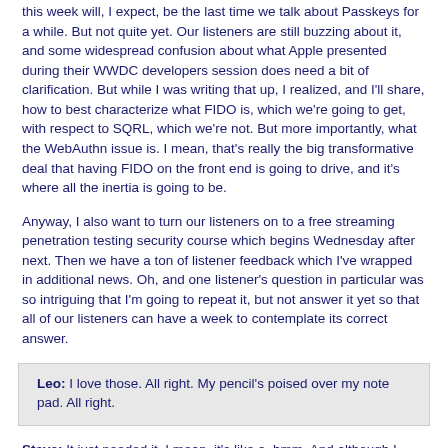this week will, I expect, be the last time we talk about Passkeys for a while. But not quite yet. Our listeners are still buzzing about it, and some widespread confusion about what Apple presented during their WWDC developers session does need a bit of clarification. But while I was writing that up, I realized, and I'll share, how to best characterize what FIDO is, which we're going to get, with respect to SQRL, which we're not. But more importantly, what the WebAuthn issue is. I mean, that's really the big transformative deal that having FIDO on the front end is going to drive, and it's where all the inertia is going to be.
Anyway, I also want to turn our listeners on to a free streaming penetration testing security course which begins Wednesday after next. Then we have a ton of listener feedback which I've wrapped in additional news. Oh, and one listener's question in particular was so intriguing that I'm going to repeat it, but not answer it yet so that all of our listeners can have a week to contemplate its correct answer.
Leo: I love those. All right. My pencil's poised over my note pad. All right.
Steve: It just needed it. I mean, it's like a, hmm. And although I wasn't looking for it, I also stumbled upon a surprising demonstration proof that we are indeed living in a simulation. And it's broken. That's the point of the proof.
Leo: Wait a minute. The simulation's broken?